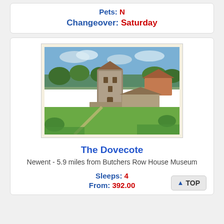Pets: N
Changeover: Saturday
[Figure (photo): Aerial view of The Dovecote property in Newent — a stone tower building surrounded by green lawns, trees, and a lower outbuilding, with countryside in the background.]
The Dovecote
Newent - 5.9 miles from Butchers Row House Museum
Sleeps: 4
From: 392.00